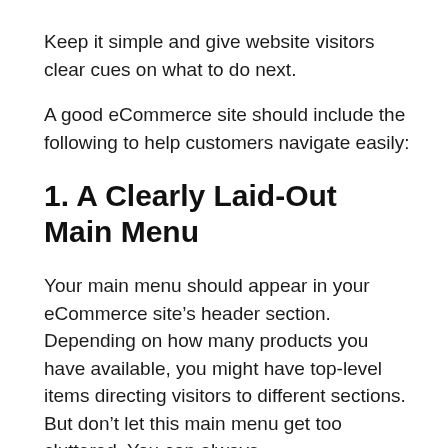Keep it simple and give website visitors clear cues on what to do next.
A good eCommerce site should include the following to help customers navigate easily:
1. A Clearly Laid-Out Main Menu
Your main menu should appear in your eCommerce site’s header section. Depending on how many products you have available, you might have top-level items directing visitors to different sections. But don’t let this main menu get too cluttered. You can always